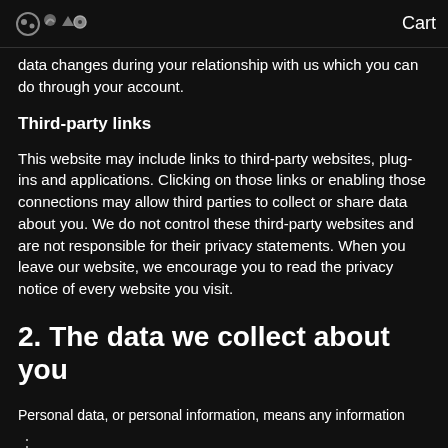Cart
data changes during your relationship with us which you can do through your account.
Third-party links
This website may include links to third-party websites, plug-ins and applications. Clicking on those links or enabling those connections may allow third parties to collect or share data about you. We do not control these third-party websites and are not responsible for their privacy statements. When you leave our website, we encourage you to read the privacy notice of every website you visit.
2. The data we collect about you
Personal data, or personal information, means any information
⋮